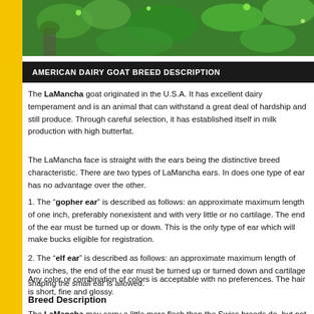[Figure (photo): Green foliage/plants banner image at top of page]
AMERICAN DAIRY GOAT BREED DESCRIPTION
The LaMancha goat originated in the U.S.A. It has excellent dairy temperament and is an animal that can withstand a great deal of hardship and still produce. Through careful selection, it has established itself in milk production with high butterfat.
The LaMancha face is straight with the ears being the distinctive breed characteristic. There are two types of LaMancha ears. In does one type of ear has no advantage over the other.
1. The “gopher ear” is described as follows: an approximate maximum length of one inch, preferably nonexistent and with very little or no cartilage. The end of the ear must be turned up or down. This is the only type of ear which will make bucks eligible for registration.
2. The “elf ear” is described as follows: an approximate maximum length of two inches, the end of the ear must be turned up or turned down and cartilage shaping the small ear is allowed.
Any color or combination of colors is acceptable with no preferences. The hair is short, fine and glossy.
Breed Description
The LaMancha may carry a little more flesh than the Swiss breeds do, but not to the point of being fat. The LaMancha ears are the most obvious breed difference. They almost do not exist. The gopher ear, required must on bucks, contain no cartilage. They appear as wrinkled folds of skin that...